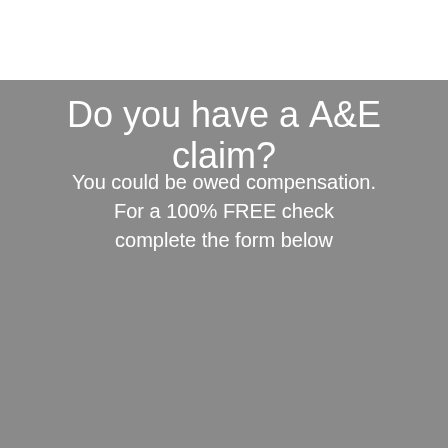Do you have a A&E claim?
You could be owed compensation. For a 100% FREE check complete the form below
[Figure (other): Contact form with fields for Title, First Name, Last Name, Phone Number, Email Address, privacy notice, and a 'Click For FREE Advice' submit button on a green rounded background.]